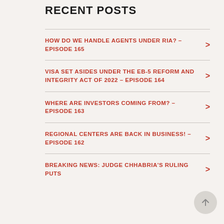RECENT POSTS
HOW DO WE HANDLE AGENTS UNDER RIA? – EPISODE 165
VISA SET ASIDES UNDER THE EB-5 REFORM AND INTEGRITY ACT OF 2022 – EPISODE 164
WHERE ARE INVESTORS COMING FROM? – EPISODE 163
REGIONAL CENTERS ARE BACK IN BUSINESS! – EPISODE 162
BREAKING NEWS: JUDGE CHHABRIA'S RULING PUTS